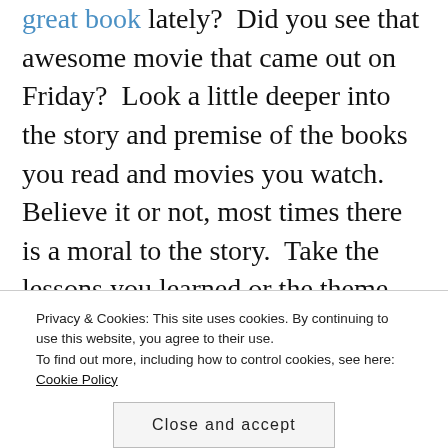great book lately?  Did you see that awesome movie that came out on Friday?  Look a little deeper into the story and premise of the books you read and movies you watch.  Believe it or not, most times there is a moral to the story.  Take the lessons you learned or the theme and apply it to your career.  It could be anything from management to teamwork to leadership.  As entertaining as the movies are, there's a great deal of insight to gain from this summer's blockbusters.  Here's what I learned from the new A-Team movie: Building Your
Privacy & Cookies: This site uses cookies. By continuing to use this website, you agree to their use.
To find out more, including how to control cookies, see here: Cookie Policy
Close and accept